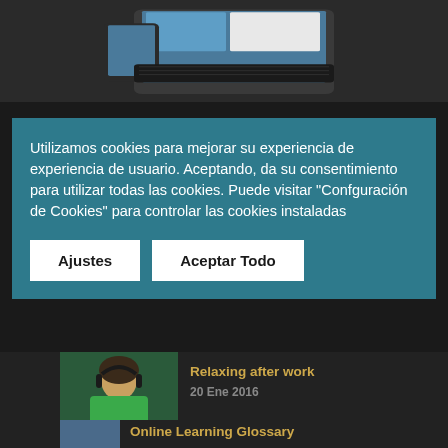[Figure (photo): Tablet and smartphone devices with educational app on screen, shown against gray background]
Utilizamos cookies para mejorar su experiencia de experiencia de usuario. Aceptando, da su consentimiento para utilizar todas las cookies. Puede visitar "Confguración de Cookies" para controlar las cookies instaladas
Ajustes
Aceptar Todo
[Figure (photo): Young woman with headphones smiling, wearing green top]
Relaxing after work
20 Ene 2016
Online Learning Glossary